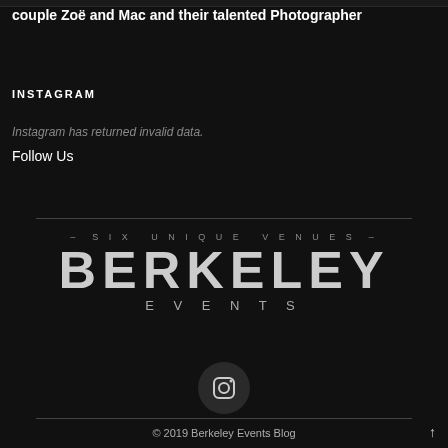couple Zoë and Mac and their talented Photographer
INSTAGRAM
Instagram has returned invalid data.
Follow Us
[Figure (logo): Berkeley Events logo with tagline '- SIX UNIQUE VENUES -' above large BERKELEY text and EVENTS below]
[Figure (logo): Instagram icon in a dark circle]
© 2019 Berkeley Events Blog